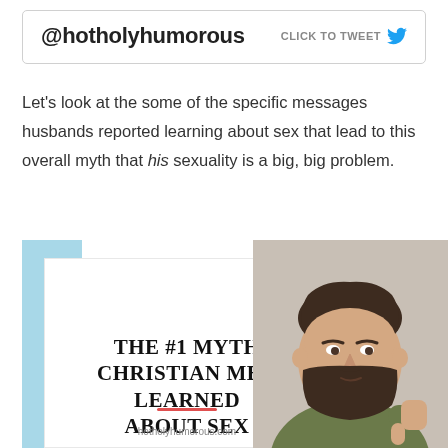@hotholyhumorous   CLICK TO TWEET
Let’s look at the some of the specific messages husbands reported learning about sex that lead to this overall myth that his sexuality is a big, big problem.
[Figure (infographic): Infographic card with light blue background block, white card overlay reading 'THE #1 MYTH CHRISTIAN MEN LEARNED ABOUT SEX' with a red underline and URL 'hotholyhumorous.com', alongside a photo of a bearded man giving a thumbs down gesture.]